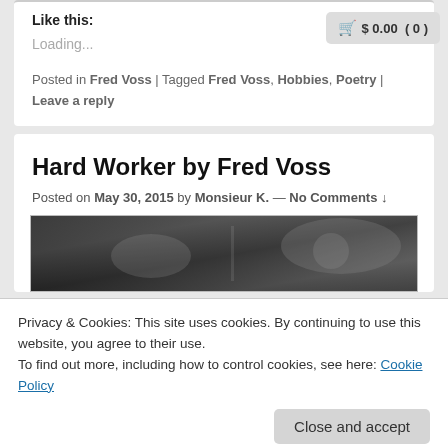Like this:
Loading...
$ 0.00  ( 0 )
Posted in Fred Voss | Tagged Fred Voss, Hobbies, Poetry | Leave a reply
Hard Worker by Fred Voss
Posted on May 30, 2015 by Monsieur K. — No Comments ↓
[Figure (photo): Black and white photograph, appears to show a person, cropped]
Privacy & Cookies: This site uses cookies. By continuing to use this website, you agree to their use.
To find out more, including how to control cookies, see here: Cookie Policy
Close and accept